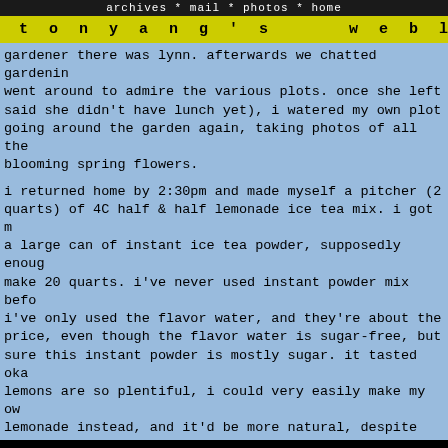archives * mail * photos * home
tony yang's weblog
gardener there was lynn. afterwards we chatted gardening, went around to admire the various plots. once she left (said she didn't have lunch yet), i watered my own plot going around the garden again, taking photos of all the blooming spring flowers.
i returned home by 2:30pm and made myself a pitcher (2 quarts) of 4C half & half lemonade ice tea mix. i got m a large can of instant ice tea powder, supposedly enoug make 20 quarts. i've never used instant powder mix befo i've only used the flavor water, and they're about the price, even though the flavor water is sugar-free, but sure this instant powder is mostly sugar. it tasted oka lemons are so plentiful, i could very easily make my ow lemonade instead, and it'd be more natural, despite the of sugar involved.
i left again at 3pm, to the porter square star market, look for boneless chicken thighs. they had plenty in st got 2 packs, then rode to the cafe to drop them off. my mother wasn't there - she took my 2nd aunt to the bank some things in her safety deposit box. returning home, to star market again to get another 2 pack of boneless chicken thighs. i also noticed they were having a sale smoked hickory ham. i bought a nearly 10 lbs. chunk of for only $6. even the cashier was shocked when she rang up.
i sliced up some blood oranges when i got back home b